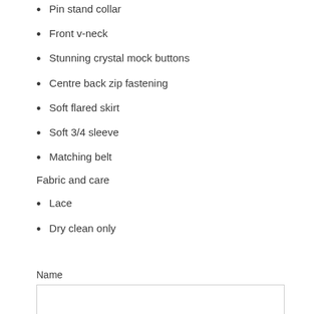Pin stand collar
Front v-neck
Stunning crystal mock buttons
Centre back zip fastening
Soft flared skirt
Soft 3/4 sleeve
Matching belt
Fabric and care
Lace
Dry clean only
Name
Email *